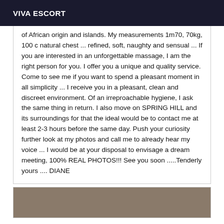VIVA ESCORT
of African origin and islands. My measurements 1m70, 70kg, 100 c natural chest ... refined, soft, naughty and sensual ... If you are interested in an unforgettable massage, I am the right person for you. I offer you a unique and quality service. Come to see me if you want to spend a pleasant moment in all simplicity ... I receive you in a pleasant, clean and discreet environment. Of an irreproachable hygiene, I ask the same thing in return. I also move on SPRING HILL and its surroundings for that the ideal would be to contact me at least 2-3 hours before the same day. Push your curiosity further look at my photos and call me to already hear my voice ... I would be at your disposal to envisage a dream meeting, 100% REAL PHOTOS!!! See you soon .....Tenderly yours .... DIANE
[Figure (photo): Partial photo, dark brownish/grey toned image visible at bottom of page]